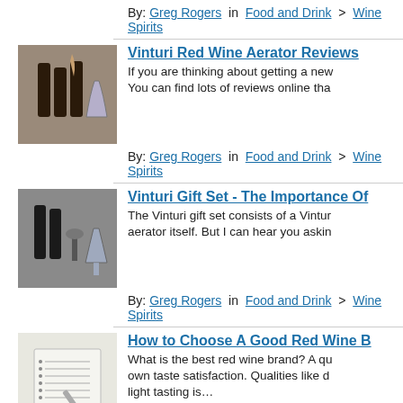By: Greg Rogers in Food and Drink > Wine Spirits
[Figure (photo): Thumbnail image of wine bottles and a glass being poured]
Vinturi Red Wine Aerator Reviews
If you are thinking about getting a new wine aerator, You can find lots of reviews online tha...
By: Greg Rogers in Food and Drink > Wine Spirits
[Figure (photo): Thumbnail image of Vinturi gift set with bottles and glass]
Vinturi Gift Set - The Importance Of
The Vinturi gift set consists of a Vintur... aerator itself. But I can hear you askin...
By: Greg Rogers in Food and Drink > Wine Spirits
[Figure (photo): Thumbnail image of a notepad and pen]
How to Choose A Good Red Wine B
What is the best red wine brand? A qu... own taste satisfaction. Qualities like d... light tasting is...
By: Myra Steppe in Food and Drink > Wine Spirits
[Figure (photo): Thumbnail image of a Vinturi wine aerator device]
Vinturi Wine Aerator - Rieslings An
The Vinturi wine aerator is a small ga... people know that you have to let wine...